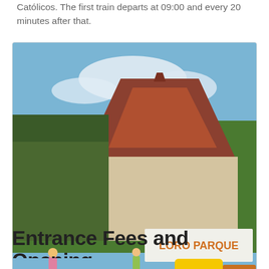Católicos. The first train departs at 09:00 and every 20 minutes after that.
[Figure (photo): A yellow tourist train parked in front of the Loro Parque entrance sign, with Thai-style buildings and palm trees in the background.]
Free Express Train in Loro Parque – ©slava133
Entrance Fees and Opening